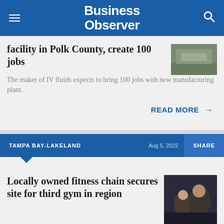Business Observer
facility in Polk County, create 100 jobs
The maker of IV fluids expects to bring 100 jobs with new manufacturing plant.
READ MORE →
TAMPA BAY-LAKELAND
Locally owned fitness chain secures site for third gym in region